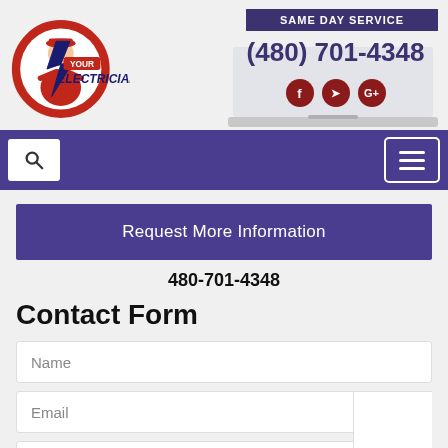[Figure (logo): Your Electrician logo with electrician figure in red circle with lightning bolt]
[Figure (screenshot): Laptop showing SAME DAY SERVICE header, phone number (480) 701-4348, and social media icons (Facebook, Twitter, Google+)]
[Figure (infographic): Purple navigation bar with search icon on left and hamburger menu on right]
Request More Information
480-701-4348
Contact Form
Name
Email